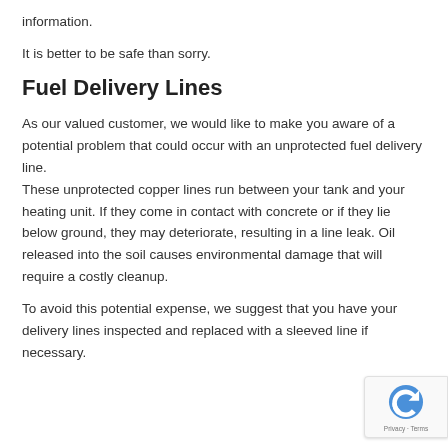information.
It is better to be safe than sorry.
Fuel Delivery Lines
As our valued customer, we would like to make you aware of a potential problem that could occur with an unprotected fuel delivery line.
These unprotected copper lines run between your tank and your heating unit. If they come in contact with concrete or if they lie below ground, they may deteriorate, resulting in a line leak. Oil released into the soil causes environmental damage that will require a costly cleanup.
To avoid this potential expense, we suggest that you have your delivery lines inspected and replaced with a sleeved line if necessary.